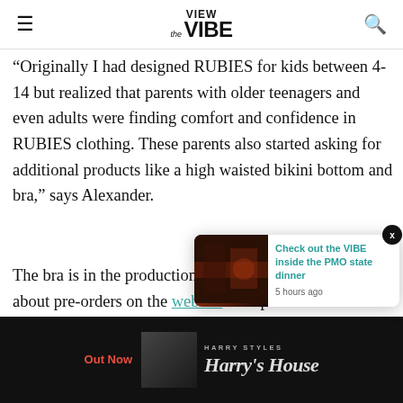VIEW the VIBE
"Originally I had designed RUBIES for kids between 4-14 but realized that parents with older teenagers and even adults were finding comfort and confidence in RUBIES clothing. These parents also started asking for additional products like a high waisted bikini bottom and bra," says Alexander.
The bra is in the production stage but you can find out about pre-orders on the website. The products that are currently available for purchasing include a one-piece swimsuit, bikini tops and bottoms, and a high waisted shaping bikini b... shaping...
[Figure (screenshot): Popup overlay showing 'Check out the VIBE inside the PMO state dinner' with thumbnail image and timestamp '5 hours ago']
[Figure (photo): Ad banner for Harry Styles Harry's House album at bottom of page]